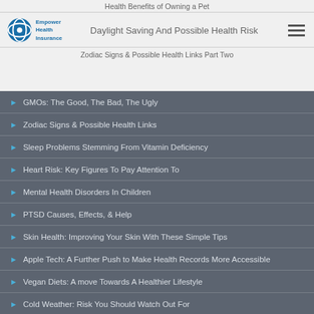Health Benefits of Owning a Pet
Daylight Saving And Possible Health Risk
Zodiac Signs & Possible Health Links Part Two
GMOs: The Good, The Bad, The Ugly
Zodiac Signs & Possible Health Links
Sleep Problems Stemming From Vitamin Deficiency
Heart Risk: Key Figures To Pay Attention To
Mental Health Disorders In Children
PTSD Causes, Effects, & Help
Skin Health: Improving Your Skin With These Simple Tips
Apple Tech: A Further Push to Make Health Records More Accessible
Vegan Diets: A move Towards A Healthier Lifestyle
Cold Weather: Risk You Should Watch Out For
Skin Care & Mental Health Link Discovered
Health Advice For Seniors: Managing Elderly Health
Preventive Care: Are You Using This Benefit?
Beacon Health: Mental Health Help Around The Corner
Planetary Health Diet: Saving lives and the Environment
Managing Dementia For You Or A Loved One